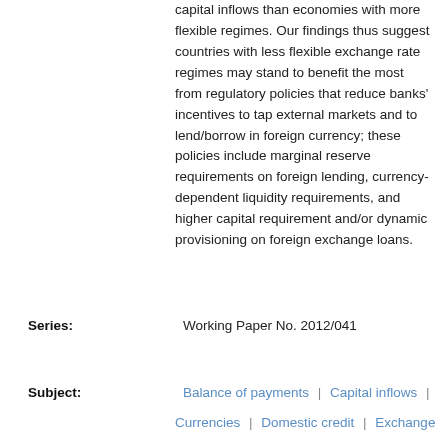capital inflows than economies with more flexible regimes. Our findings thus suggest countries with less flexible exchange rate regimes may stand to benefit the most from regulatory policies that reduce banks' incentives to tap external markets and to lend/borrow in foreign currency; these policies include marginal reserve requirements on foreign lending, currency-dependent liquidity requirements, and higher capital requirement and/or dynamic provisioning on foreign exchange loans.
Series: Working Paper No. 2012/041
Subject: Balance of payments | Capital inflows | Currencies | Domestic credit | Exchange